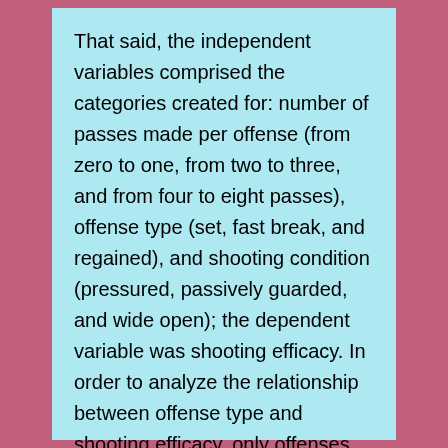That said, the independent variables comprised the categories created for: number of passes made per offense (from zero to one, from two to three, and from four to eight passes), offense type (set, fast break, and regained), and shooting condition (pressured, passively guarded, and wide open); the dependent variable was shooting efficacy. In order to analyze the relationship between offense type and shooting efficacy, only offenses that finished with a FGA were included in this study.
Considering the first objective of this study (i.e. Number of passes made vs. Shooting